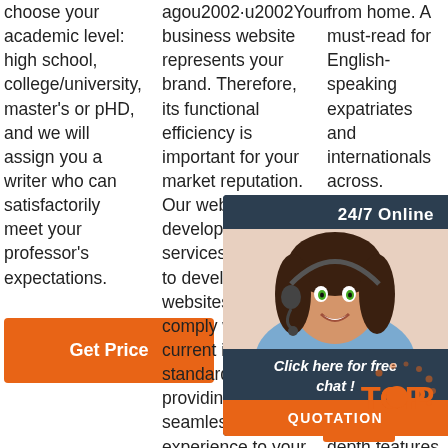choose your academic level: high school, college/university, master's or pHD, and we will assign you a writer who can satisfactorily meet your professor's expectations.
[Figure (other): Orange 'Get Price' button]
agou2002·u2002Your business website represents your brand. Therefore, its functional efficiency is important for your market reputation. Our web development services helps you to develop websites that comply with current industry standards, providing a seamless experience to your end-users.. Our web developers create high-
from home. A must-read for English-speaking expatriates and internationals across. Expatica provides a tailored news service essential information, living, and more your country choice, in-depth features, Expatica brings the international community closer together.
[Figure (other): 24/7 Online chat widget with agent photo, 'Click here for free chat!' text, and QUOTATION button]
[Figure (other): TOP badge with orange dot and dots around it]
[Figure (other): Small orange button at bottom of col3]